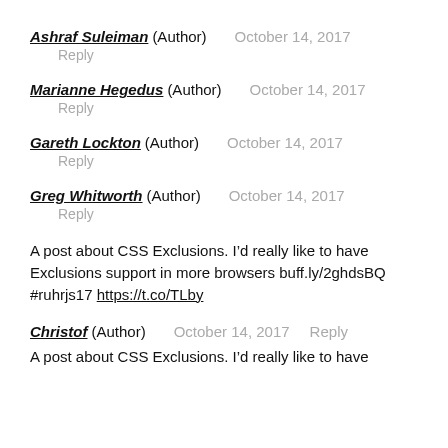Ashraf Suleiman (Author)   October 14, 2017
Reply
Marianne Hegedus (Author)   October 14, 2017
Reply
Gareth Lockton (Author)   October 14, 2017
Reply
Greg Whitworth (Author)   October 14, 2017
Reply
A post about CSS Exclusions. I’d really like to have Exclusions support in more browsers buff.ly/2ghdsBQ #ruhrjs17 https://t.co/TLby
Christof (Author)   October 14, 2017   Reply
A post about CSS Exclusions. I’d really like to have